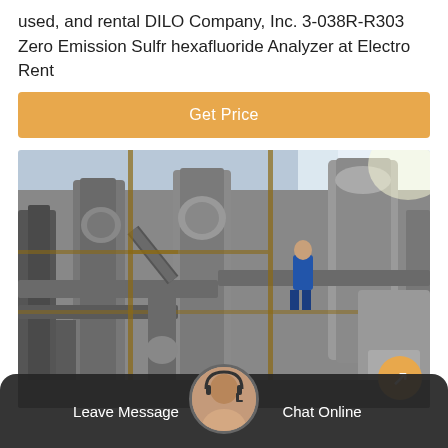used, and rental DILO Company, Inc. 3-038R-R303 Zero Emission Sulfr hexafluoride Analyzer at Electro Rent
Get Price
[Figure (photo): Industrial facility with large metal pipes, columns, scaffolding, and a worker in blue visible among the equipment.]
Leave Message
Chat Online